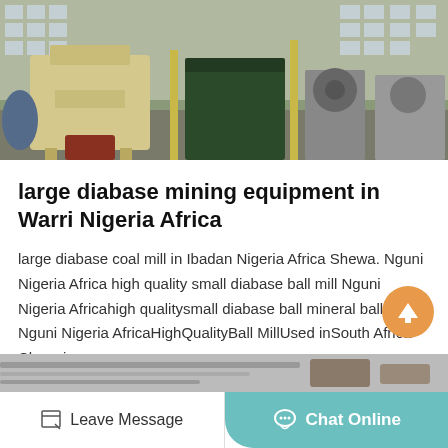[Figure (photo): Industrial mining/crushing equipment in a factory yard — beige/yellow hammer mill machines and a dark green crusher, various industrial machinery in background]
large diabase mining equipment in Warri Nigeria Africa
large diabase coal mill in Ibadan Nigeria Africa Shewa. Nguni Nigeria Africa high quality small diabase ball mill Nguni Nigeria Africahigh qualitysmall diabase ball mineral ball mill in Nguni Nigeria AfricaHighQualityBall MillUsed inSouth Africa Chromi
[Figure (other): Get Price button — orange rectangle]
[Figure (photo): Partial bottom strip showing industrial machinery (partially visible)]
Leave Message   Chat Online